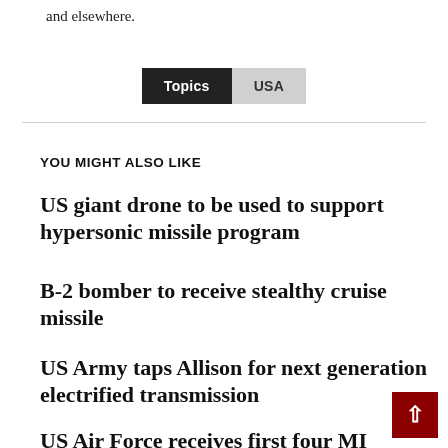and elsewhere.
YOU MIGHT ALSO LIKE
US giant drone to be used to support hypersonic missile program
B-2 bomber to receive stealthy cruise missile
US Army taps Allison for next generation electrified transmission
US Air Force receives first four MI